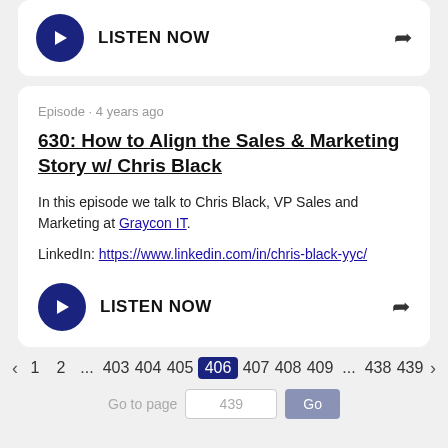[Figure (other): Play button and LISTEN NOW text with share icon at top]
Episode · 4 years ago
630: How to Align the Sales & Marketing Story w/ Chris Black
In this episode we talk to Chris Black, VP Sales and Marketing at Graycon IT.
LinkedIn: https://www.linkedin.com/in/chris-black-yyc/
[Figure (other): Play button and LISTEN NOW text with share icon]
< 1 2 ...403 404 405 406 407 408 409...438 439 >
Go to page 439 Go